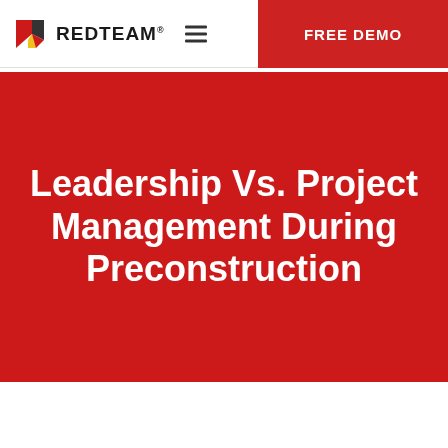[Figure (logo): RedTeam logo with stylized R icon and REDTEAM text in bold, plus FREE DEMO red button on the right side of the navigation bar]
Leadership Vs. Project Management During Preconstruction